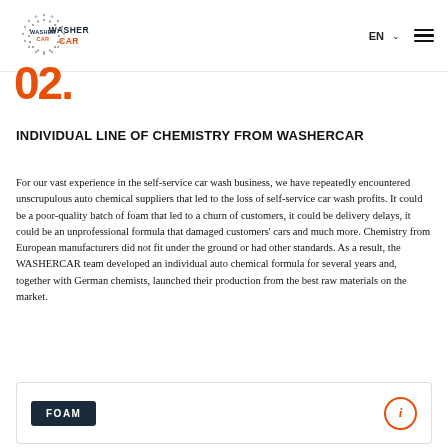WASHERCAR EN
INDIVIDUAL LINE OF CHEMISTRY FROM WASHERCAR
For our vast experience in the self-service car wash business, we have repeatedly encountered unscrupulous auto chemical suppliers that led to the loss of self-service car wash profits. It could be a poor-quality batch of foam that led to a churn of customers, it could be delivery delays, it could be an unprofessional formula that damaged customers' cars and much more. Chemistry from European manufacturers did not fit under the ground or had other standards. As a result, the WASHERCAR team developed an individual auto chemical formula for several years and, together with German chemists, launched their production from the best raw materials on the market.
FOAM